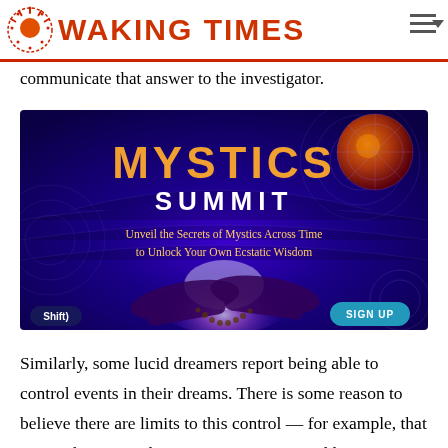WAKING TIMES
communicate that answer to the investigator.
[Figure (illustration): Mystics Summit advertisement banner showing hands holding glowing light on a purple cosmic background, with text 'MYSTICS SUMMIT — Unveil the Secrets of Mystics Across Time to Unlock Your Own Ecstatic Wisdom' and a 'SIGN UP' button. Shift logo in bottom left.]
Similarly, some lucid dreamers report being able to control events in their dreams. There is some reason to believe there are limits to this control — for example, that major changes in dream setting, or even sudden